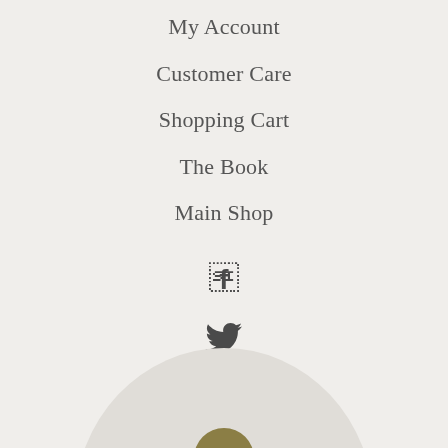My Account
Customer Care
Shopping Cart
The Book
Main Shop
[Figure (infographic): Social media icons: Facebook, Twitter, Pinterest, Instagram]
[Figure (photo): Partial circular image with decorative element at bottom of page]